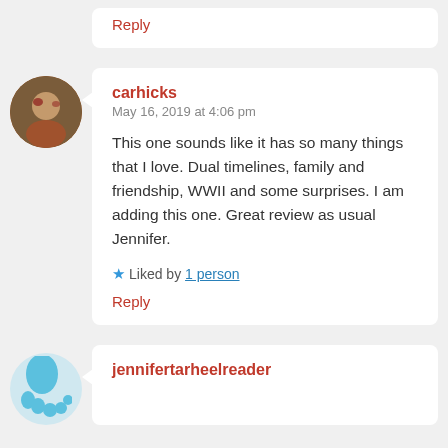Reply
carhicks
May 16, 2019 at 4:06 pm

This one sounds like it has so many things that I love. Dual timelines, family and friendship, WWII and some surprises. I am adding this one. Great review as usual Jennifer.

Liked by 1 person

Reply
jennifertarheelreader